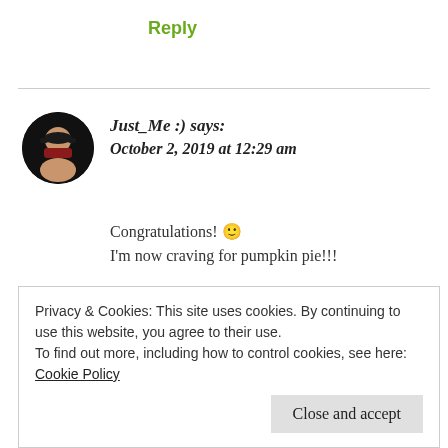Reply
Just_Me :) says:
October 2, 2019 at 12:29 am
Congratulations! 🙂
I'm now craving for pumpkin pie!!!
★ Liked by 3 people
Privacy & Cookies: This site uses cookies. By continuing to use this website, you agree to their use.
To find out more, including how to control cookies, see here: Cookie Policy
Close and accept